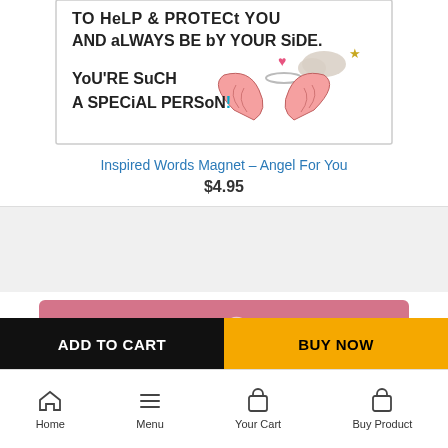[Figure (photo): Product image of Inspired Words Magnet – Angel For You, showing handwritten-style text 'TO HELP & PROTECT YOU AND ALWAYS BE BY YOUR SIDE. YOU'RE SUCH A SPECIAL PERSON!' with angel wings illustration, pink heart, gold star, and cloud.]
Inspired Words Magnet – Angel For You
$4.95
[Figure (photo): Pink/rose colored product image with white owl outline design visible.]
ADD TO CART
BUY NOW
Home  Menu  Your Cart  Buy Product